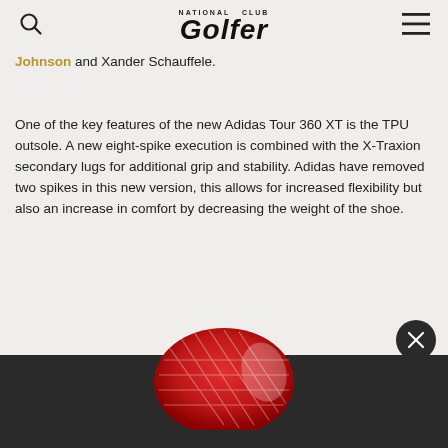National Club Golfer
Johnson and Xander Schauffele.
One of the key features of the new Adidas Tour 360 XT is the TPU outsole. A new eight-spike execution is combined with the X-Traxion secondary lugs for additional grip and stability. Adidas have removed two spikes in this new version, this allows for increased flexibility but also an increase in comfort by decreasing the weight of the shoe.
[Figure (photo): Partial view of a red and white Adidas Tour 360 XT golf shoe outsole/sole, shown from below, with dark banner at bottom of page.]